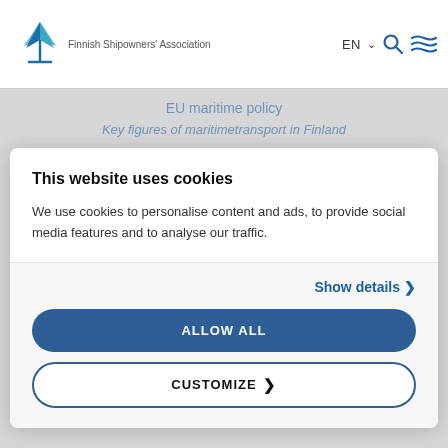[Figure (logo): Finnish Shipowners' Association logo with stylized ship/anchor mark in blue and teal]
Finnish Shipowners' Association | EN | Search | Menu
EU maritime policy
Key figures of maritimetransport in Finland
This website uses cookies
We use cookies to personalise content and ads, to provide social media features and to analyse our traffic.
Show details >
ALLOW ALL
CUSTOMIZE >
Labor market affairs
Digitalization and automation